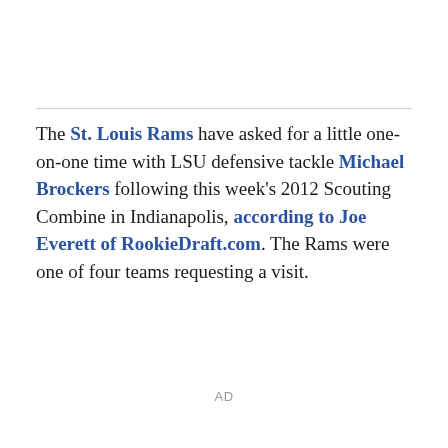The St. Louis Rams have asked for a little one-on-one time with LSU defensive tackle Michael Brockers following this week's 2012 Scouting Combine in Indianapolis, according to Joe Everett of RookieDraft.com. The Rams were one of four teams requesting a visit.
AD